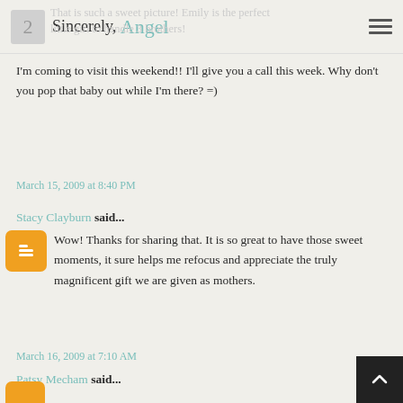Sincerely, Angel
That is such a sweet picture! Emily is the perfect little girl to handle 3 brothers!
I'm coming to visit this weekend!! I'll give you a call this week. Why don't you pop that baby out while I'm there? =)
March 15, 2009 at 8:40 PM
Stacy Clayburn said...
Wow! Thanks for sharing that. It is so great to have those sweet moments, it sure helps me refocus and appreciate the truly magnificent gift we are given as mothers.
March 16, 2009 at 7:10 AM
Patsy Mecham said...